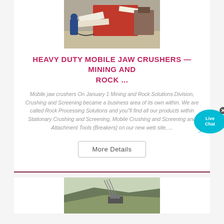[Figure (photo): Industrial jaw crusher components — large red and white metal parts on a workshop floor with a worker in blue overalls]
HEAVY DUTY MOBILE JAW CRUSHERS — MINING AND ROCK ...
Mobile jaw crushers On January 1 Mining and Rock Solutions Division, Crushing and Screening became a business area of its own within. We are called Rock Processing Solutions and you"ll find all our products within Stationary Crushing and Screening, Mobile Crushing and Screening and Attachment Tools (Breakers) on our new web site, ...
[Figure (other): Live Chat bubble overlay — cyan speech bubble with 'Live Chat' text and an X close button]
[Figure (photo): Mining or quarry site with machinery on a hillside, cranes or conveyors visible against a green mountainous background]